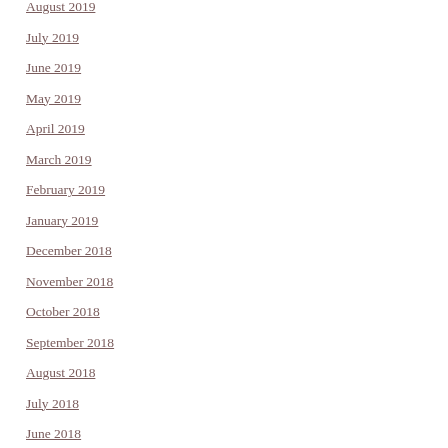August 2019
July 2019
June 2019
May 2019
April 2019
March 2019
February 2019
January 2019
December 2018
November 2018
October 2018
September 2018
August 2018
July 2018
June 2018
May 2018
April 2018
March 2018
February 2018